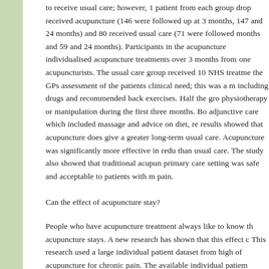to receive usual care; however, 1 patient from each group drop received acupuncture (146 were followed up at 3 months, 147 and 24 months) and 80 received usual care (71 were followed months and 59 and 24 months). Participants in the acupuncture individualised acupuncture treatments over 3 months from one acupuncturists. The usual care group received 10 NHS treatme the GPs assessment of the patients clinical need; this was a m including drugs and recommended back exercises. Half the gro physiotherapy or manipulation during the first three months. Bo adjunctive care which included massage and advice on diet, re results showed that acupuncture does give a greater long-term usual care. Acupuncture was significantly more effective in redu than usual care. The study also showed that traditional acupun primary care setting was safe and acceptable to patients with m pain.
Can the effect of acupuncture stay?
People who have acupuncture treatment always like to know th acupuncture stays. A new research has shown that this effect c This research used a large individual patient dataset from high of acupuncture for chronic pain. The available individual patiem